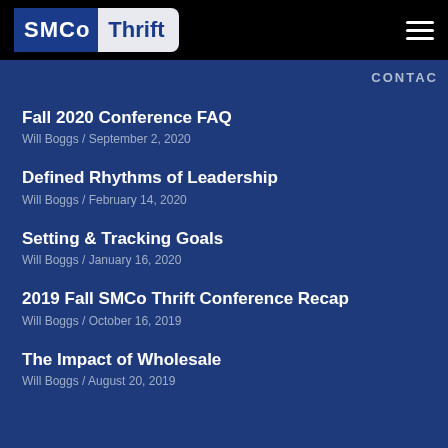SMCo Thrift
CONTACT
Fall 2020 Conference FAQ
Will Boggs / September 2, 2020
Defined Rhythms of Leadership
Will Boggs / February 14, 2020
Setting & Tracking Goals
Will Boggs / January 16, 2020
2019 Fall SMCo Thrift Conference Recap
Will Boggs / October 16, 2019
The Impact of Wholesale
Will Boggs / August 20, 2019